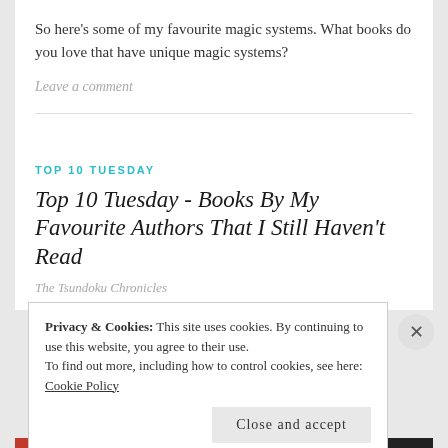So here’s some of my favourite magic systems. What books do you love that have unique magic systems?
Leave a comment
TOP 10 TUESDAY
Top 10 Tuesday - Books By My Favourite Authors That I Still Haven’t Read
The Tsundoku Chronicles
Privacy & Cookies: This site uses cookies. By continuing to use this website, you agree to their use.
To find out more, including how to control cookies, see here: Cookie Policy
Close and accept